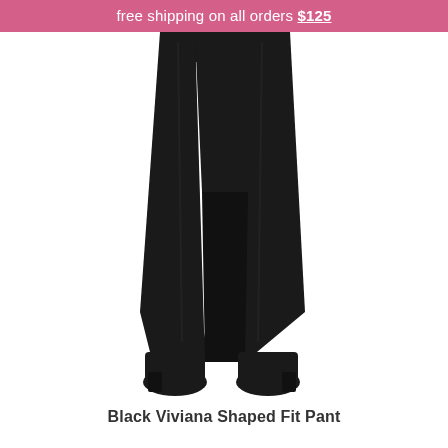free shipping on all orders $125
[Figure (photo): Lower body of a person wearing black straight-fit trousers and black low-heeled ankle boots, shown from waist to feet against a white background.]
Black Viviana Shaped Fit Pant